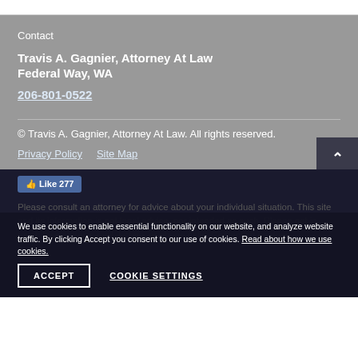Contact
Travis A. Gagnier, Attorney At Law
Federal Way, WA
206-801-0522
© Travis A. Gagnier, Attorney At Law. All rights reserved.
Privacy Policy    Site Map
Like 277
We use cookies to enable essential functionality on our website, and analyze website traffic. By clicking Accept you consent to our use of cookies. Read about how we use cookies.
ACCEPT    COOKIE SETTINGS
Please consult an attorney for advice about your individual situation. This site and its information is not legal advice, nor intended as such. Please get in touch by electronic mail, letters, or phone calls. Contacting us does